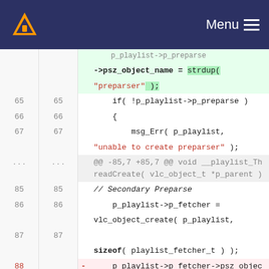VLC Menu
[Figure (screenshot): Code diff viewer showing changes in a C source file related to VLC playlist preparser and fetcher object creation. Lines 65-88 shown with diff markers, green/red background highlighting for added/removed lines.]